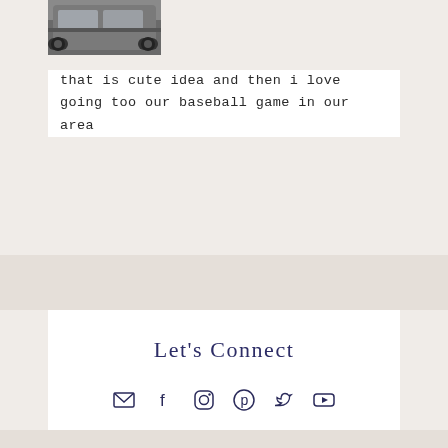[Figure (photo): A bus or large vehicle, dark/grey colored, photographed from the front-side angle]
that is cute idea and then i love going too our baseball game in our area
Let's Connect
[Figure (infographic): Social media icons row: email/envelope, Facebook, Instagram, Pinterest, Twitter, YouTube]